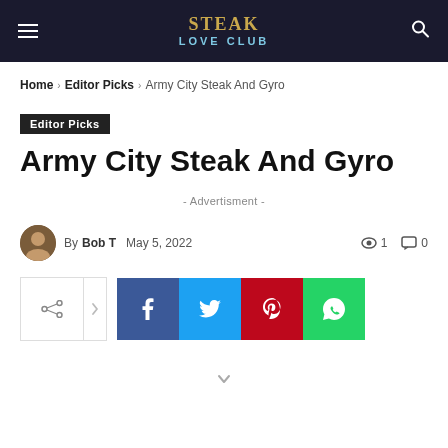STEAK LOVE CLUB
Home › Editor Picks › Army City Steak And Gyro
Editor Picks
Army City Steak And Gyro
- Advertisment -
By Bob T  May 5, 2022  👁 1  💬 0
[Figure (infographic): Social share buttons row: generic share, forward arrow, Facebook, Twitter, Pinterest, WhatsApp]